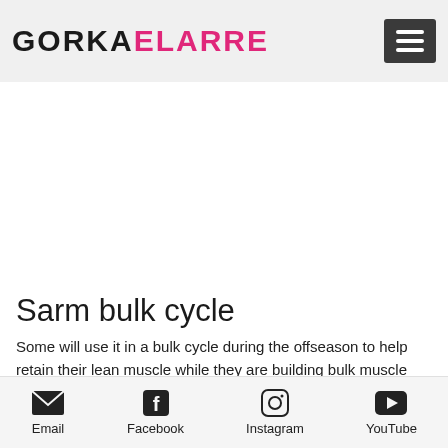GORKAELARRE [logo with hamburger menu]
Sarm bulk cycle
Some will use it in a bulk cycle during the offseason to help retain their lean muscle while they are building bulk muscle through weight training. Some will use it to get through the summer, but most will use it solely as a strength component.
Email  Facebook  Instagram  YouTube